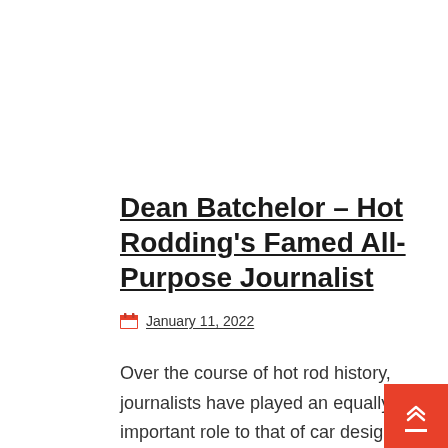Dean Batchelor – Hot Rodding's Famed All-Purpose Journalist
January 11, 2022
Over the course of hot rod history, journalists have played an equally important role to that of car designers, engine maestros, and metal craftsmen